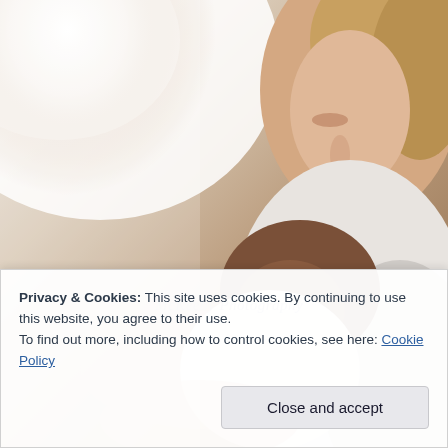[Figure (photo): A woman with light hair holding a sleeping newborn baby against her chest. The photo has a warm, soft-lit quality. A watermark reads 'McKeeby Photography' in the lower-left area of the image.]
Privacy & Cookies: This site uses cookies. By continuing to use this website, you agree to their use.
To find out more, including how to control cookies, see here: Cookie Policy
Close and accept